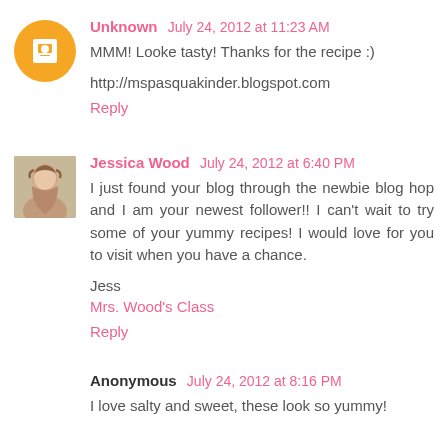Unknown  July 24, 2012 at 11:23 AM
MMM! Looke tasty! Thanks for the recipe :)
http://mspasquakinder.blogspot.com
Reply
Jessica Wood  July 24, 2012 at 6:40 PM
I just found your blog through the newbie blog hop and I am your newest follower!! I can't wait to try some of your yummy recipes! I would love for you to visit when you have a chance.
Jess
Mrs. Wood's Class
Reply
Anonymous  July 24, 2012 at 8:16 PM
I love salty and sweet, these look so yummy!